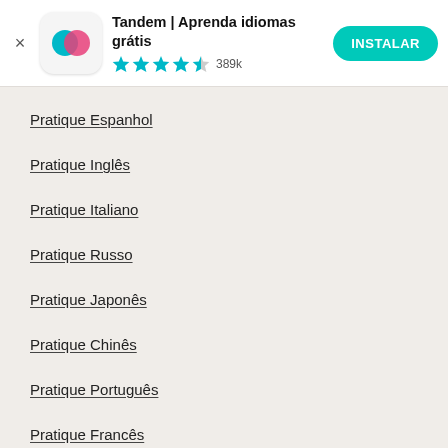[Figure (screenshot): Tandem app banner with icon, title, star rating, and install button]
Pratique Espanhol
Pratique Inglês
Pratique Italiano
Pratique Russo
Pratique Japonês
Pratique Chinês
Pratique Português
Pratique Francês